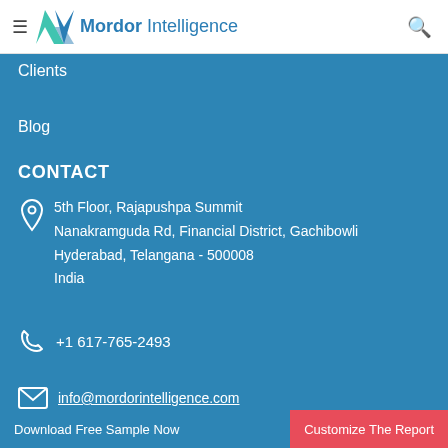≡ Mordor Intelligence 🔍
Clients
Blog
CONTACT
5th Floor, Rajapushpa Summit
Nanakramguda Rd, Financial District, Gachibowli
Hyderabad, Telangana - 500008
India
+1 617-765-2493
info@mordorintelligence.com
Download Free Sample Now
Customize The Report